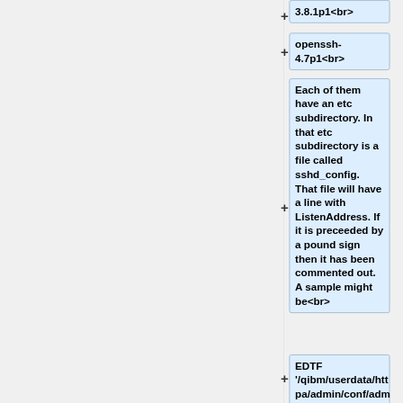3.8.1p1<br>
openssh-4.7p1<br>
Each of them have an etc subdirectory.  In that etc subdirectory is a file called sshd_config.  That file will have a line with ListenAddress.  If it is preceeded by a pound sign then it has been commented out.  A sample might be<br>
EDTF '/qibm/userdata/httpa/admin/conf/adm in-cust.conf'<br>